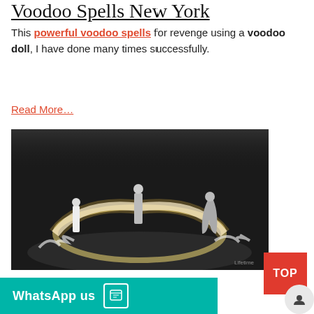Voodoo Spells New York
This powerful voodoo spells for revenge using a voodoo doll, I have done many times successfully.
Read More…
[Figure (photo): Black and white photo of figures surrounded by fire/flames in a dark setting, with a Lifetime network watermark in the lower right.]
Witchcraft Love Spells
Witchcraft well known Love Spells, Psychic ...A. Looking for positive ...ps?